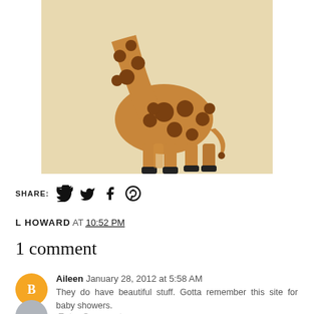[Figure (illustration): Stylized cartoon giraffe illustration on a beige/tan background. The giraffe is shown from the neck down, with brown circular spots on a tan body, black hooves, and a tufted tail. The neck curves to the left at the top.]
SHARE:  [Twitter icon]  [Facebook icon]  [Pinterest icon]
L HOWARD AT 10:52 PM
1 comment
Aileen  January 28, 2012 at 5:58 AM
They do have beautiful stuff. Gotta remember this site for baby showers.
Reply
Enter Comment